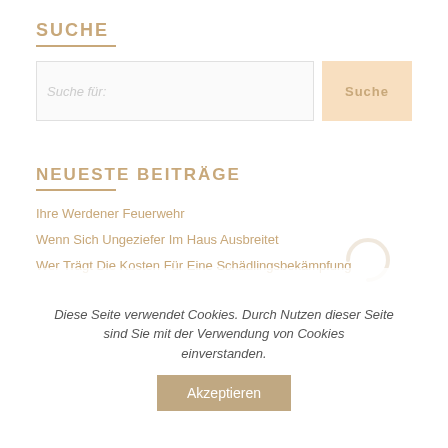SUCHE
Suche für:
Suche
NEUESTE BEITRÄGE
Ihre Werdener Feuerwehr
Wenn Sich Ungeziefer Im Haus Ausbreitet
Wer Trägt Die Kosten Für Eine Schädlingsbekämpfung
Diese Seite verwendet Cookies. Durch Nutzen dieser Seite sind Sie mit der Verwendung von Cookies einverstanden.
Akzeptieren